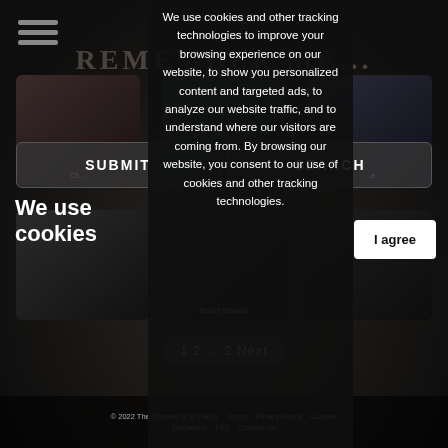REMEMBER ME...
[Figure (screenshot): Hamburger menu icon (three horizontal lines)]
[Figure (screenshot): Row of photo cards with partial images of people]
SUBMIT
SEARCH
[Figure (screenshot): Second row of photo cards, with label 'Robert Newson']
We use cookies
We use cookies and other tracking technologies to improve your browsing experience on our website, to show you personalized content and targeted ads, to analyze our website traffic, and to understand where our visitors are coming from. By browsing our website, you consent to our use of cookies and other tracking technologies.
I agree
1  2  ...  2  Next
© 2022 The Chapter of St Paul's   Terms   Privacy Policy   Cookies   Disclaimer   FAQ   Contact Us